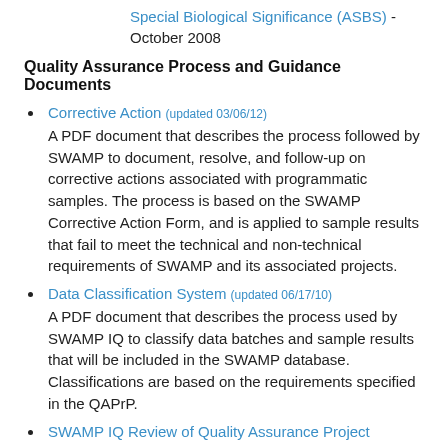Special Biological Significance (ASBS) - October 2008
Quality Assurance Process and Guidance Documents
Corrective Action (updated 03/06/12) A PDF document that describes the process followed by SWAMP to document, resolve, and follow-up on corrective actions associated with programmatic samples. The process is based on the SWAMP Corrective Action Form, and is applied to sample results that fail to meet the technical and non-technical requirements of SWAMP and its associated projects.
Data Classification System (updated 06/17/10) A PDF document that describes the process used by SWAMP IQ to classify data batches and sample results that will be included in the SWAMP database. Classifications are based on the requirements specified in the QAPrP.
SWAMP IQ Review of Quality Assurance Project